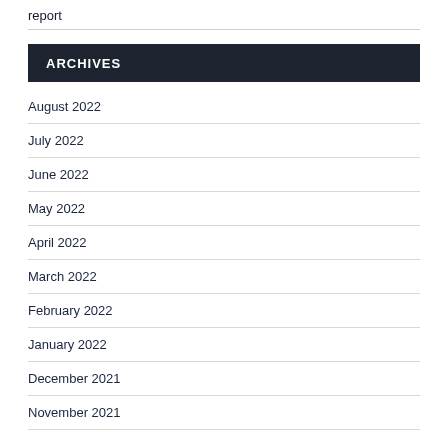report
ARCHIVES
August 2022
July 2022
June 2022
May 2022
April 2022
March 2022
February 2022
January 2022
December 2021
November 2021